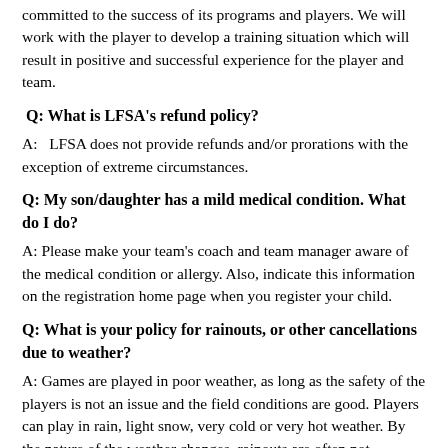committed to the success of its programs and players. We will work with the player to develop a training situation which will result in positive and successful experience for the player and team.
Q: What is LFSA's refund policy?
A:   LFSA does not provide refunds and/or prorations with the exception of extreme circumstances.
Q: My son/daughter has a mild medical condition. What do I do?
A: Please make your team's coach and team manager aware of the medical condition or allergy. Also, indicate this information on the registration home page when you register your child.
Q: What is your policy for rainouts, or other cancellations due to weather?
A: Games are played in poor weather, as long as the safety of the players is not an issue and the field conditions are good. Players can play in rain, light snow, very cold or very hot weather. By the nature of the weather changes, rainouts are often not